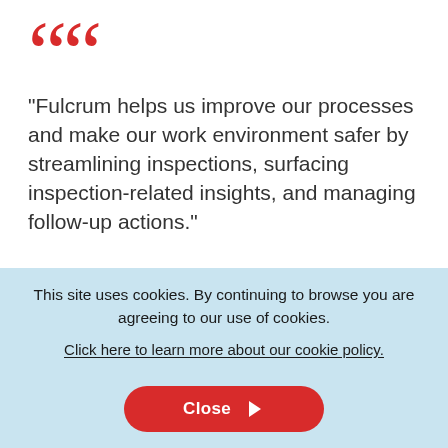“Fulcrum helps us improve our processes and make our work environment safer by streamlining inspections, surfacing inspection-related insights, and managing follow-up actions.”
This site uses cookies. By continuing to browse you are agreeing to our use of cookies.
Click here to learn more about our cookie policy.